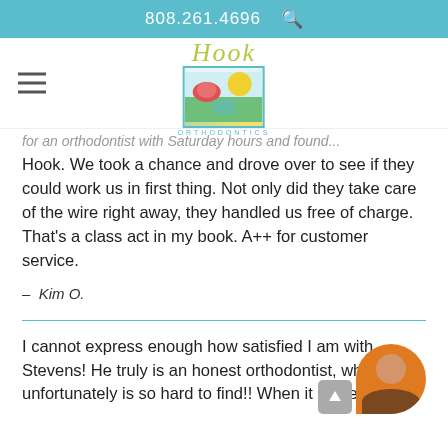808.261.4696
[Figure (logo): Hook Orthodontics logo with tropical floral illustration and text 'ORTHODONTICS']
for an orthodontist with Saturday hours and found Hook. We took a chance and drove over to see if they could work us in first thing. Not only did they take care of the wire right away, they handled us free of charge. That's a class act in my book. A++ for customer service.
– Kim O.
I cannot express enough how satisfied I am with Stevens! He truly is an honest orthodontist, which unfortunately is so hard to find!! When it comes to just